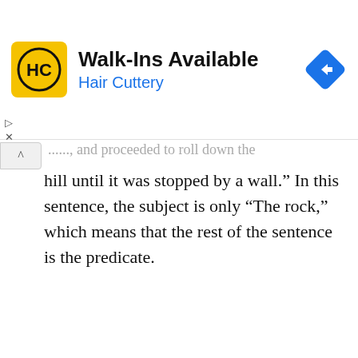[Figure (other): Hair Cuttery advertisement banner with yellow logo, 'Walk-Ins Available' headline, blue 'Hair Cuttery' subtext, and a blue navigation diamond icon on the right.]
hill until it was stopped by a wall.” In this sentence, the subject is only “The rock,” which means that the rest of the sentence is the predicate.